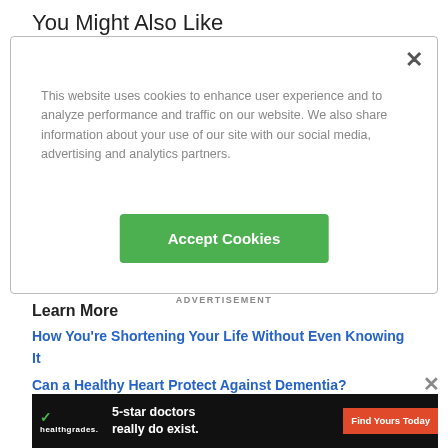You Might Also Like
This website uses cookies to enhance user experience and to analyze performance and traffic on our website. We also share information about your use of our site with our social media, advertising and analytics partners.
Accept Cookies
Learn More
How You’re Shortening Your Life Without Even Knowing It
Can a Healthy Heart Protect Against Dementia?
This Bad Sleep Habit Leads to Overeating
5 We...
[Figure (infographic): Healthgrades advertisement banner: '5-star doctors really do exist. Find Yours Today']
ADVERTISEMENT